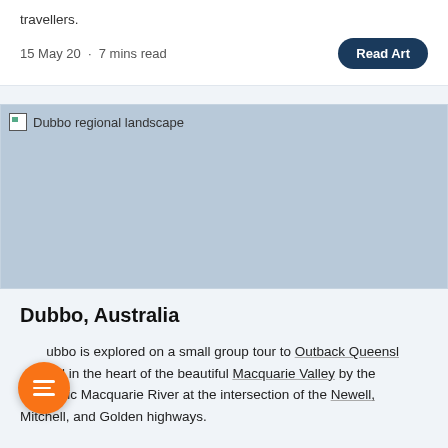travellers.
15 May 20  ·  7 mins read
[Figure (photo): Dubbo regional landscape — broken image placeholder showing light blue-grey rectangle with alt text 'Dubbo regional landscape']
Dubbo, Australia
ubbo is explored on a small group tour to Outback Queensl… ted in the heart of the beautiful Macquarie Valley by the… jestic Macquarie River at the intersection of the Newell, Mitchell, and Golden highways.